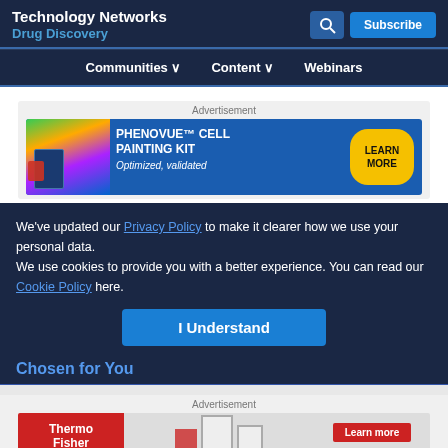Technology Networks
Drug Discovery
Communities ∨   Content ∨   Webinars
Advertisement
[Figure (screenshot): PHENOVUE™ CELL PAINTING KIT advertisement banner - blue background with product image and LEARN MORE button. Text: Optimized, validated]
We've updated our Privacy Policy to make it clearer how we use your personal data.
We use cookies to provide you with a better experience. You can read our Cookie Policy here.
[Figure (screenshot): I Understand button in blue]
Chosen for You
Advertisement
[Figure (screenshot): Thermo Fisher Scientific advertisement banner with lab flasks and Learn more button]